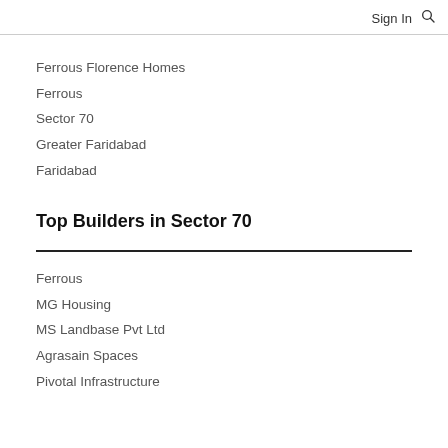Sign In
Ferrous Florence Homes
Ferrous
Sector 70
Greater Faridabad
Faridabad
Top Builders in Sector 70
Ferrous
MG Housing
MS Landbase Pvt Ltd
Agrasain Spaces
Pivotal Infrastructure